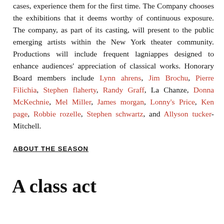cases, experience them for the first time. The Company chooses the exhibitions that it deems worthy of continuous exposure. The company, as part of its casting, will present to the public emerging artists within the New York theater community. Productions will include frequent lagniappes designed to enhance audiences' appreciation of classical works. Honorary Board members include Lynn ahrens, Jim Brochu, Pierre Filichia, Stephen flaherty, Randy Graff, La Chanze, Donna McKechnie, Mel Miller, James morgan, Lonny's Price, Ken page, Robbie rozelle, Stephen schwartz, and Allyson tucker-Mitchell.
ABOUT THE SEASON
A class act